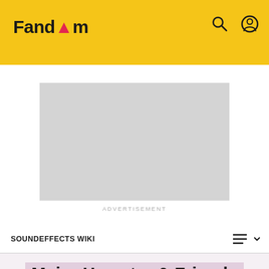Fandom
[Figure (other): Gray advertisement placeholder rectangle]
ADVERTISEMENT
SOUNDEFFECTS WIKI
Major Hamster & Friends